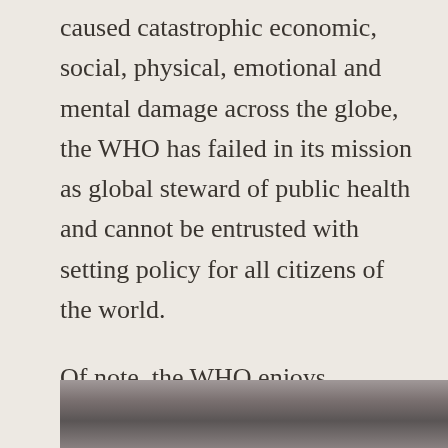caused catastrophic economic, social, physical, emotional and mental damage across the globe, the WHO has failed in its mission as global steward of public health and cannot be entrusted with setting policy for all citizens of the world.
Of note, the WHO enjoys immunity from every form of legal action, arrest, and searches of their papers, documents, and facilities.
[Figure (photo): Partial black and white photograph visible at the bottom of the page, cropped.]